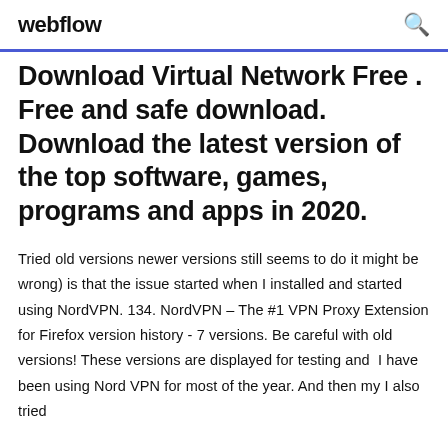webflow
Download Virtual Network Free . Free and safe download. Download the latest version of the top software, games, programs and apps in 2020.
Tried old versions newer versions still seems to do it might be wrong) is that the issue started when I installed and started using NordVPN. 134. NordVPN – The #1 VPN Proxy Extension for Firefox version history - 7 versions. Be careful with old versions! These versions are displayed for testing and  I have been using Nord VPN for most of the year. And then my I also tried